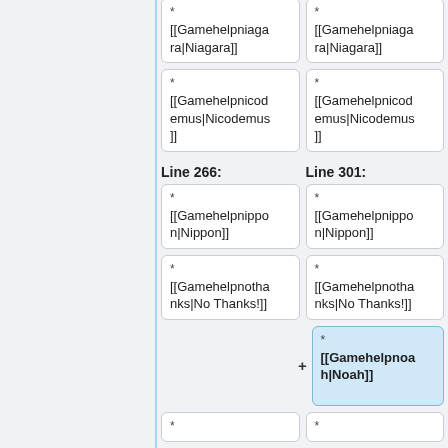* [[Gamehelpniagara|Niagara]]
* [[Gamehelpniagara|Niagara]]
* [[Gamehelpnicodemus|Nicodemus]]
* [[Gamehelpnicodemus|Nicodemus]]
Line 266:
Line 301:
* [[Gamehelpnippon|Nippon]]
* [[Gamehelpnippon|Nippon]]
* [[Gamehelpnothanks|No Thanks!]]
* [[Gamehelpnothanks|No Thanks!]]
+ * [[Gamehelpnoah|Noah]]
*
*